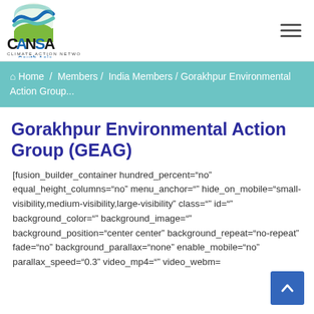[Figure (logo): CANSA Climate Action Network South Asia logo — circular icon with blue/green waves above text]
Home / Members / India Members / Gorakhpur Environmental Action Group...
Gorakhpur Environmental Action Group (GEAG)
[fusion_builder_container hundred_percent="no" equal_height_columns="no" menu_anchor="" hide_on_mobile="small-visibility,medium-visibility,large-visibility" class="" id="" background_color="" background_image="" background_position="center center" background_repeat="no-repeat" fade="no" background_parallax="none" enable_mobile="no" parallax_speed="0.3" video_mp4="" video_webm=